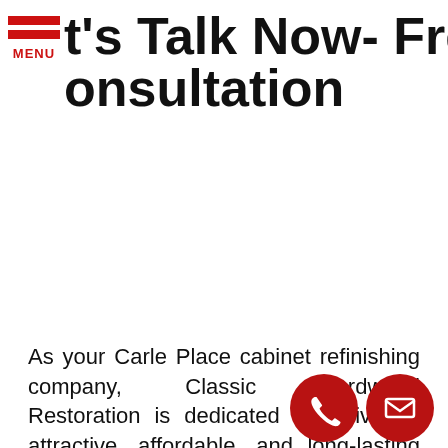Let's Talk Now- Free Consultation
As your Carle Place cabinet refinishing company, Classic Hardwood Restoration is dedicated to delivering attractive, affordable, and long-lasting kitchen and bath remodeling solutions.
We refinish or recolor your existing cabinets in to